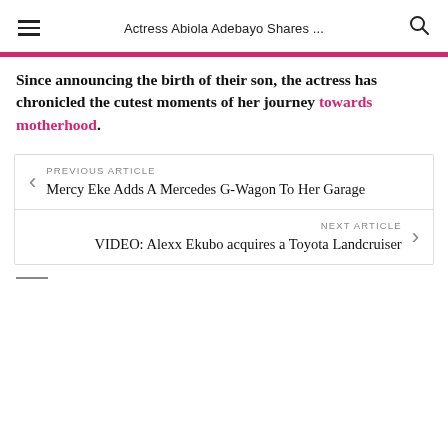Actress Abiola Adebayo Shares ...
Since announcing the birth of their son, the actress has chronicled the cutest moments of her journey towards motherhood.
PREVIOUS ARTICLE
Mercy Eke Adds A Mercedes G-Wagon To Her Garage
NEXT ARTICLE
VIDEO: Alexx Ekubo acquires a Toyota Landcruiser